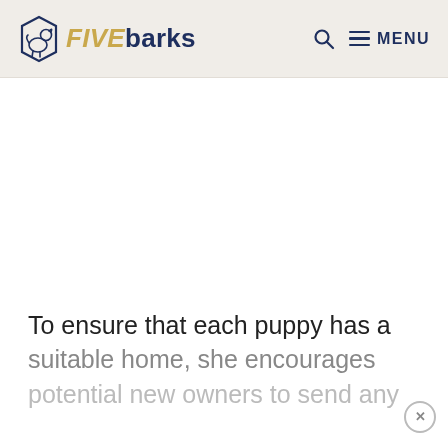FIVEbarks — Q MENU
[Figure (photo): Large white/blank image area below the header navigation bar]
To ensure that each puppy has a suitable home, she encourages potential new owners to send any